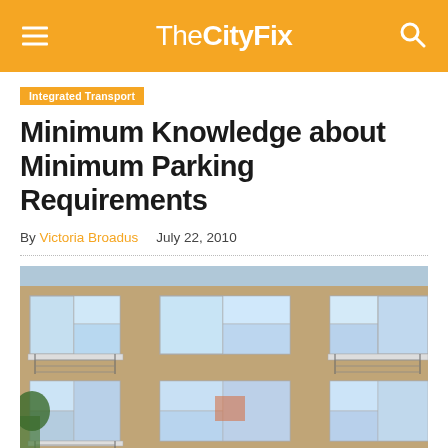TheCityFix
Integrated Transport
Minimum Knowledge about Minimum Parking Requirements
By Victoria Broadus   July 22, 2010
[Figure (photo): Exterior of a multi-story residential building with balconies, brick facade, and ground-level parking garage entrances.]